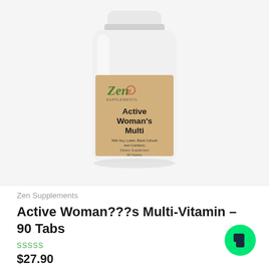[Figure (photo): Zen Supplements Active Woman's Multi vitamin bottle with cream/tan label. Label shows brand logo 'Zen' in green script, 'Active Woman's Multi' in bold black text, and smaller text 'With Soy, Lutein, Black Cohosh and Cranberry, Dietary Supplement, 90 Tablets'.]
Zen Supplements
Active Woman???s Multi-Vitamin – 90 Tabs
SSSSS
$27.90